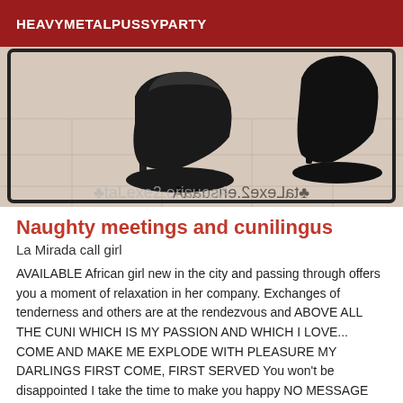HEAVYMETALPUSSYPARTY
[Figure (photo): Photo of black high heel shoes on a tiled floor, with mirrored/watermark text at the bottom]
Naughty meetings and cunilingus
La Mirada call girl
AVAILABLE African girl new in the city and passing through offers you a moment of relaxation in her company. Exchanges of tenderness and others are at the rendezvous and ABOVE ALL THE CUNI WHICH IS MY PASSION AND WHICH I LOVE... COME AND MAKE ME EXPLODE WITH PLEASURE MY DARLINGS FIRST COME, FIRST SERVED You won't be disappointed I take the time to make you happy NO MESSAGE NO HIDDEN CALLS I'M DOING ALL-